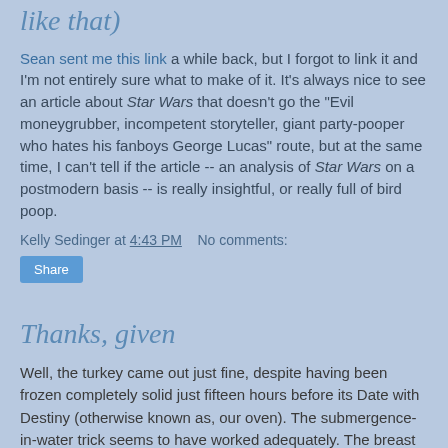like that)
Sean sent me this link a while back, but I forgot to link it and I'm not entirely sure what to make of it. It's always nice to see an article about Star Wars that doesn't go the "Evil moneygrubber, incompetent storyteller, giant party-pooper who hates his fanboys George Lucas" route, but at the same time, I can't tell if the article -- an analysis of Star Wars on a postmodern basis -- is really insightful, or really full of bird poop.
Kelly Sedinger at 4:43 PM   No comments:
Share
Thanks, given
Well, the turkey came out just fine, despite having been frozen completely solid just fifteen hours before its Date with Destiny (otherwise known as, our oven). The submergence-in-water trick seems to have worked adequately. The breast meat was a slight bit dry, though -- (The Wife, at times)